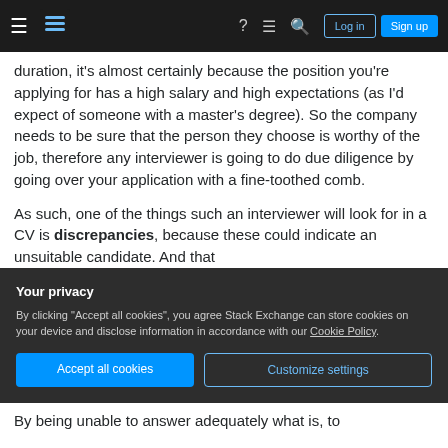Stack Exchange navigation bar with hamburger menu, logo, help, chat, search icons, Log in and Sign up buttons
duration, it's almost certainly because the position you're applying for has a high salary and high expectations (as I'd expect of someone with a master's degree). So the company needs to be sure that the person they choose is worthy of the job, therefore any interviewer is going to do due diligence by going over your application with a fine-toothed comb.
As such, one of the things such an interviewer will look for in a CV is discrepancies, because these could indicate an unsuitable candidate. And that
Your privacy
By clicking "Accept all cookies", you agree Stack Exchange can store cookies on your device and disclose information in accordance with our Cookie Policy.
Accept all cookies   Customize settings
By being unable to answer adequately what is, to